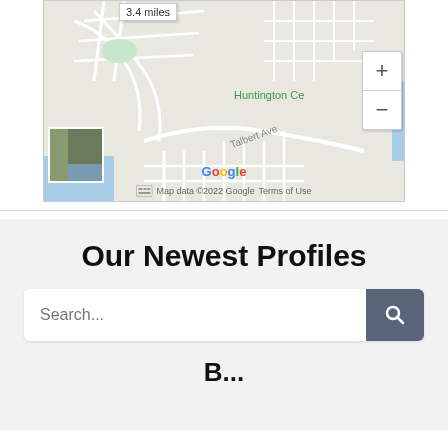[Figure (screenshot): Google Maps screenshot showing a neighborhood map with Huntington Ce(nter) label, Talbert Ave road label, zoom controls (+/-), a distance indicator showing 3.4 miles, a satellite thumbnail in lower left, and map attribution 'Map data ©2022 Google Terms of Use' at the bottom.]
Our Newest Profiles
Search...
B... (partially visible text at bottom, likely 'Become a Senior Specialist' or similar)